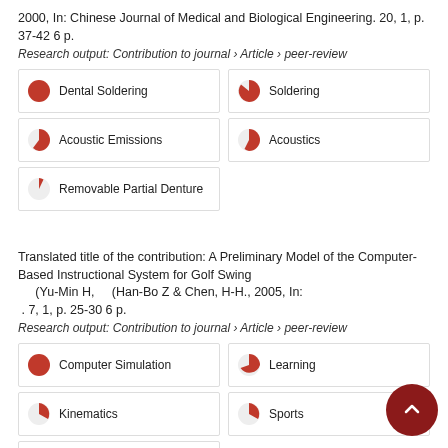2000, In: Chinese Journal of Medical and Biological Engineering. 20, 1, p. 37-42 6 p.
Research output: Contribution to journal › Article › peer-review
[Figure (infographic): Keyword badges with pie chart icons: Dental Soldering (100%), Soldering (~55%), Acoustic Emissions (~50%), Acoustics (~48%), Removable Partial Denture (~18%)]
Translated title of the contribution: A Preliminary Model of the Computer-Based Instructional System for Golf Swing
(Yu-Min H, (Han-Bo Z & Chen, H-H., 2005, In:
. 7, 1, p. 25-30 6 p.
Research output: Contribution to journal › Article › peer-review
[Figure (infographic): Keyword badges with pie chart icons: Computer Simulation (100%), Learning (~75%), Kinematics (~35%), Sports (~35%), Posture (~30%)]